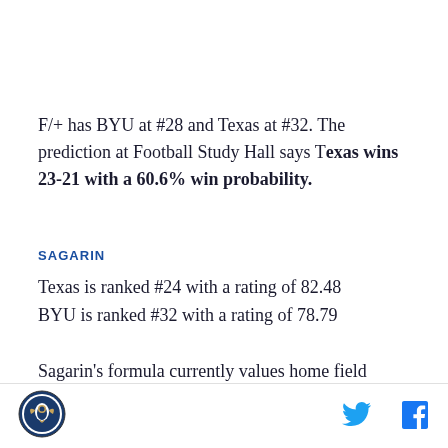F/+ has BYU at #28 and Texas at #32. The prediction at Football Study Hall says Texas wins 23-21 with a 60.6% win probability.
SAGARIN
Texas is ranked #24 with a rating of 82.48
BYU is ranked #32 with a rating of 78.79
Sagarin's formula currently values home field advantage as being worth 3.16 points. So subtracting the difference between the ratings and the adding...
[Figure (logo): BYU circular logo with eagle/shield emblem in dark navy blue]